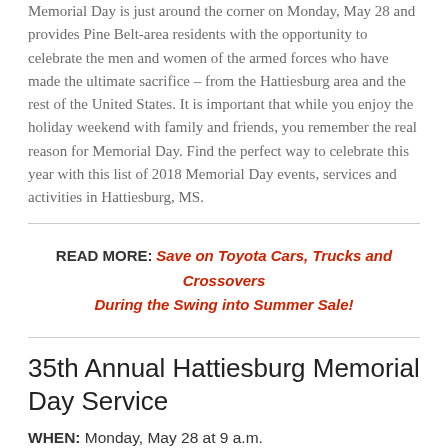Memorial Day is just around the corner on Monday, May 28 and provides Pine Belt-area residents with the opportunity to celebrate the men and women of the armed forces who have made the ultimate sacrifice – from the Hattiesburg area and the rest of the United States. It is important that while you enjoy the holiday weekend with family and friends, you remember the real reason for Memorial Day. Find the perfect way to celebrate this year with this list of 2018 Memorial Day events, services and activities in Hattiesburg, MS.
READ MORE: Save on Toyota Cars, Trucks and Crossovers During the Swing into Summer Sale!
35th Annual Hattiesburg Memorial Day Service
WHEN: Monday, May 28 at 9 a.m.